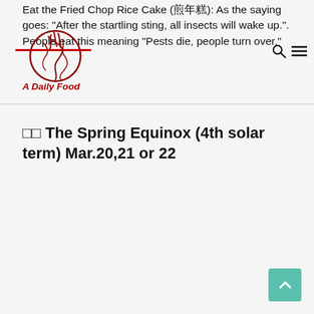Eat the Fried Chop Rice Cake (煎年糕): As the saying goes: "After the startling sting, all insects will wake up.". People eat this meaning "Pests die, people turn over."
[Figure (logo): A Daily Food logo with circular red dragon/steam design and red underline]
春分 The Spring Equinox (4th solar term) Mar.20,21 or 22